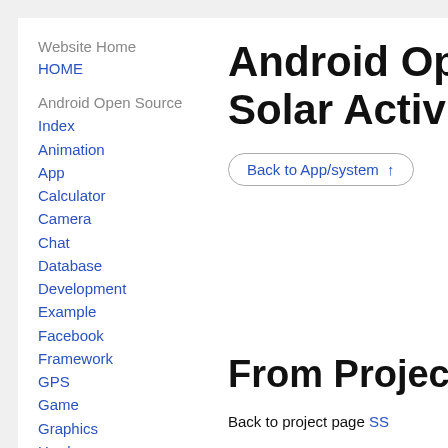Website Home
HOME
Android Open Source
Index
Animation
App
Calculator
Camera
Chat
Database
Development
Example
Facebook
Framework
GPS
Game
Graphics
Hardware
Image
Android Open Source Solar Activity
Back to App/system ↑
From Project
Back to project page SS